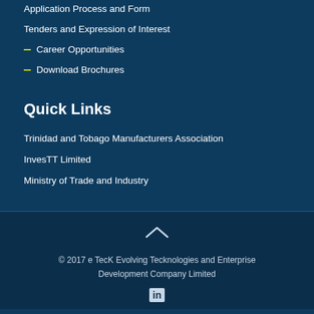Application Process and Form
Tenders and Expression of Interest
Career Opportunities
Download Brochures
Quick Links
Trinidad and Tobago Manufacturers Association
InvesTT Limited
Ministry of Trade and Industry
© 2017 e TecK Evolving Tecknologies and Enterprise Development Company Limited